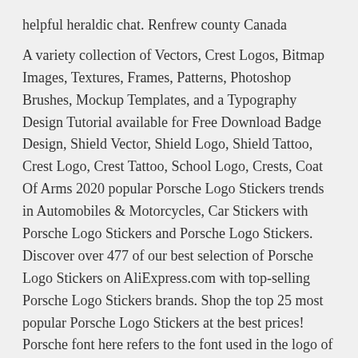helpful heraldic chat. Renfrew county Canada
A variety collection of Vectors, Crest Logos, Bitmap Images, Textures, Frames, Patterns, Photoshop Brushes, Mockup Templates, and a Typography Design Tutorial available for Free Download Badge Design, Shield Vector, Shield Logo, Shield Tattoo, Crest Logo, Crest Tattoo, School Logo, Crests, Coat Of Arms 2020 popular Porsche Logo Stickers trends in Automobiles & Motorcycles, Car Stickers with Porsche Logo Stickers and Porsche Logo Stickers. Discover over 477 of our best selection of Porsche Logo Stickers on AliExpress.com with top-selling Porsche Logo Stickers brands. Shop the top 25 most popular Porsche Logo Stickers at the best prices! Porsche font here refers to the font used in the logo of the Porsche, namely Porsche Automobile Holding SE, which is a German automaker founded in 1931 by Ferdinand Porsche. The Porsche logo or the Porsche